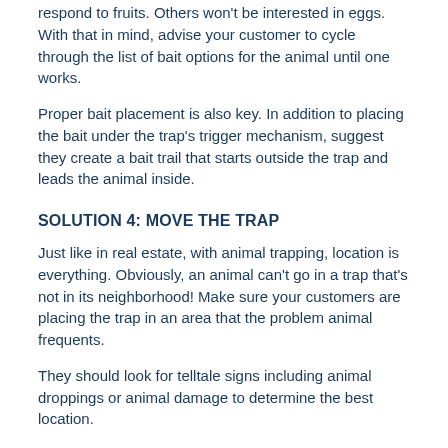respond to fruits. Others won't be interested in eggs. With that in mind, advise your customer to cycle through the list of bait options for the animal until one works.
Proper bait placement is also key. In addition to placing the bait under the trap's trigger mechanism, suggest they create a bait trail that starts outside the trap and leads the animal inside.
SOLUTION 4: MOVE THE TRAP
Just like in real estate, with animal trapping, location is everything. Obviously, an animal can't go in a trap that's not in its neighborhood! Make sure your customers are placing the trap in an area that the problem animal frequents.
They should look for telltale signs including animal droppings or animal damage to determine the best location.
Setting the trap on a level surface is also important. The tripping mechanism may not work properly otherwise.
Categories